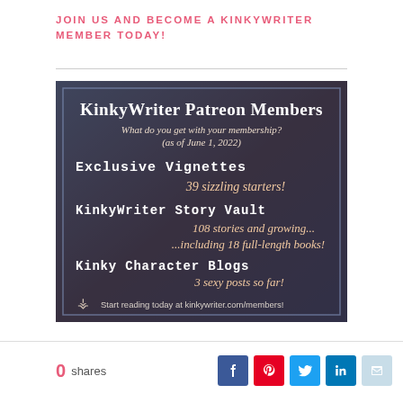JOIN US AND BECOME A KINKYWRITER MEMBER TODAY!
[Figure (infographic): KinkyWriter Patreon Members promotional image with dark background showing membership benefits: Exclusive Vignettes (39 sizzling starters!), KinkyWriter Story Vault (108 stories and growing... ...including 18 full-length books!), Kinky Character Blogs (3 sexy posts so far!), Start reading today at kinkywriter.com/members!]
0 shares